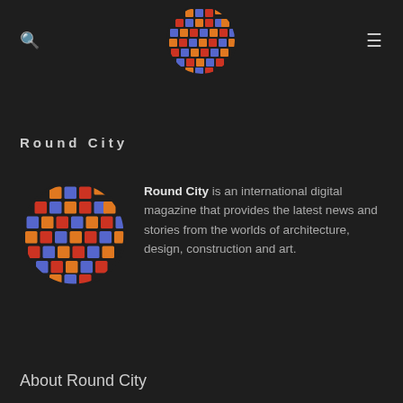Round City (logo) — search icon and menu icon
Round City
[Figure (logo): Round City logo: a circular mosaic of colorful angular city-block shapes in orange, red, blue/purple on dark background, small version]
Round City is an international digital magazine that provides the latest news and stories from the worlds of architecture, design, construction and art.
About Round City